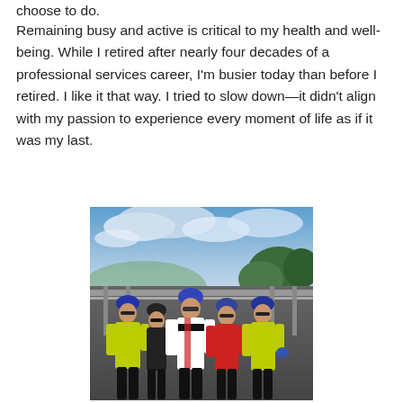choose to do.
Remaining busy and active is critical to my health and well-being. While I retired after nearly four decades of a professional services career, I'm busier today than before I retired. I like it that way. I tried to slow down—it didn't align with my passion to experience every moment of life as if it was my last.
[Figure (photo): Five cyclists in helmets and cycling gear posing together outdoors on a viewing platform or deck, with mountains, trees, and a partly cloudy blue sky in the background. Two people in bright yellow jackets flank the group.]